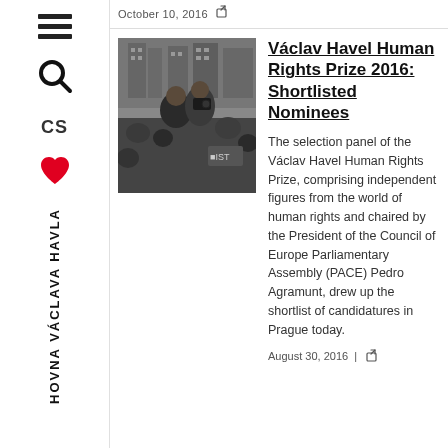October 10, 2016
[Figure (photo): Black and white photograph of two people, one holding a camera, in a crowd setting]
Václav Havel Human Rights Prize 2016: Shortlisted Nominees
The selection panel of the Václav Havel Human Rights Prize, comprising independent figures from the world of human rights and chaired by the President of the Council of Europe Parliamentary Assembly (PACE) Pedro Agramunt, drew up the shortlist of candidatures in Prague today.
August 30, 2016  |